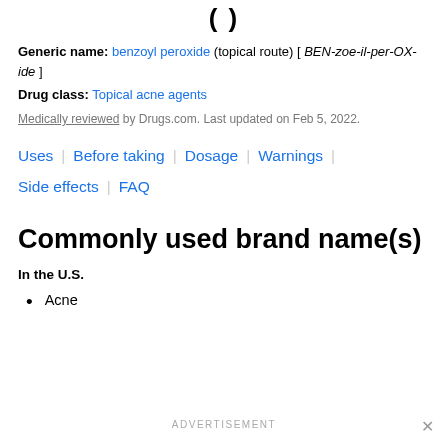( )
Generic name: benzoyl peroxide (topical route) [ BEN-zoe-il-per-OX-ide ]
Drug class: Topical acne agents
Medically reviewed by Drugs.com. Last updated on Feb 5, 2022.
Uses | Before taking | Dosage | Warnings | Side effects | FAQ
Commonly used brand name(s)
In the U.S.
Acne
ADVERTISEMENT